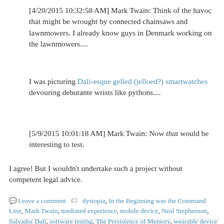[4/20/2015 10:32:58 AM] Mark Twain: Think of the havoc that might be wrought by connected chainsaws and lawnmowers. I already know guys in Denmark working on the lawnmowers....
I was picturing Dali-esque gelled (jelloed?) smartwatches devouring debutante wrists like pythons....
[5/9/2015 10:01:18 AM] Mark Twain: Now that would be interesting to test.
I agree! But I wouldn't undertake such a project without competent legal advice.
Leave a comment   dystopia, In the Beginning was the Command Line, Mark Twain, mediated experience, mobile device, Neal Stephenson, Salvador Dali, software testing, The Persistence of Memory, wearable device